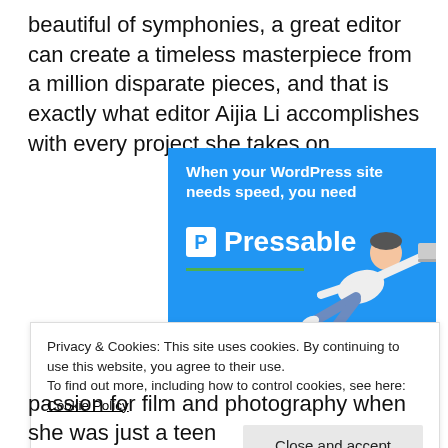beautiful of symphonies, a great editor can create a timeless masterpiece from a million disparate pieces, and that is exactly what editor Aijia Li accomplishes with every project she takes on.
[Figure (other): Advertisement banner for Pressable WordPress hosting. Blue background with bold white text 'When your WordPress site needs speed, you need Pressable' with logo, green underline, and person flying horizontally holding a laptop.]
Privacy & Cookies: This site uses cookies. By continuing to use this website, you agree to their use.
To find out more, including how to control cookies, see here: Cookie Policy
Close and accept
passion for film and photography when she was just a teen